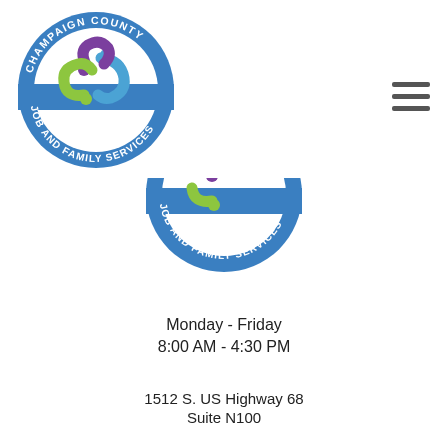[Figure (logo): Champaign County Job and Family Services circular logo with colorful swirling figures, blue border with text]
[Figure (logo): Champaign County Job and Family Services half-circle logo showing lower portion with colorful swirling figures and blue border text]
Monday - Friday
8:00 AM - 4:30 PM
1512 S. US Highway 68
Suite N100